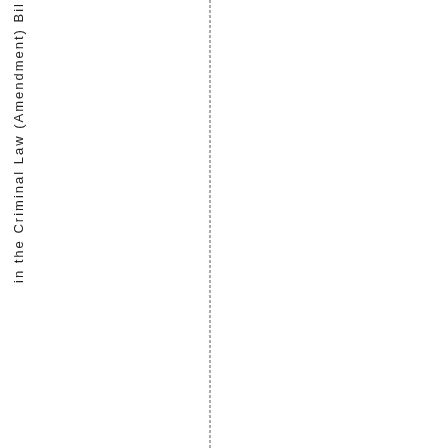in the Criminal Law (Amendment) Bil